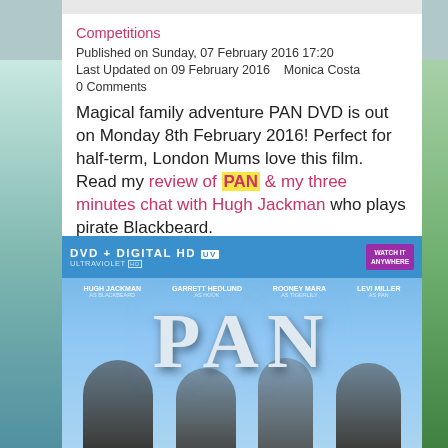Competitions
Published on Sunday, 07 February 2016 17:20
Last Updated on 09 February 2016    Monica Costa
0 Comments
Magical family adventure PAN DVD is out on Monday 8th February 2016! Perfect for half-term, London Mums love this film. Read my review of PAN & my three minutes chat with Hugh Jackman who plays pirate Blackbeard.
[Figure (photo): PAN DVD cover showing DVD + Digital HD UltraViolet label at top, actor names (Hugh Jackman, Garrett Hedlund, Rooney Mara, Levi Miller), large PAN title text, and characters from the film at bottom.]